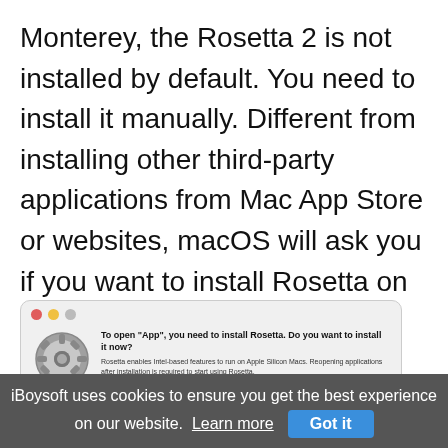Monterey, the Rosetta 2 is not installed by default. You need to install it manually. Different from installing other third-party applications from Mac App Store or websites, macOS will ask you if you want to install Rosetta on your Mac when you attempt to open an Intel app for the first time on an M1 Mac.
[Figure (screenshot): macOS dialog box asking to install Rosetta 2, with gear icon, title 'To open App, you need to install Rosetta. Do you want to install it now?', explanatory text, license text, and buttons 'Not Now' and 'Install']
iBoysoft uses cookies to ensure you get the best experience on our website. Learn more  Got it